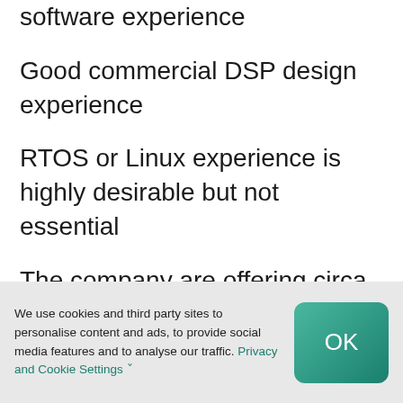software experience
Good commercial DSP design experience
RTOS or Linux experience is highly desirable but not essential
The company are offering circa £65k dependent on experience along with an excellent benefits package. Due to the nature of the work, the company
We use cookies and third party sites to personalise content and ads, to provide social media features and to analyse our traffic. Privacy and Cookie Settings ˅